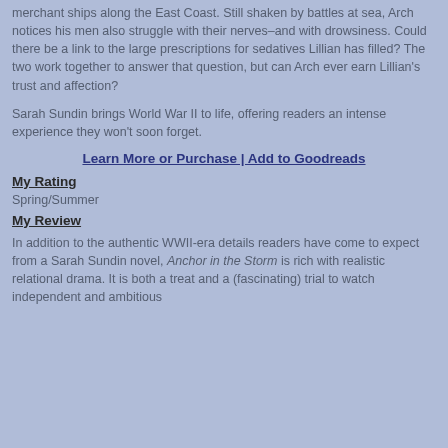merchant ships along the East Coast. Still shaken by battles at sea, Arch notices his men also struggle with their nerves–and with drowsiness. Could there be a link to the large prescriptions for sedatives Lillian has filled? The two work together to answer that question, but can Arch ever earn Lillian's trust and affection?
Sarah Sundin brings World War II to life, offering readers an intense experience they won't soon forget.
Learn More or Purchase | Add to Goodreads
My Rating
Spring/Summer
My Review
In addition to the authentic WWII-era details readers have come to expect from a Sarah Sundin novel, Anchor in the Storm is rich with realistic relational drama. It is both a treat and a (fascinating) trial to watch independent and ambitious